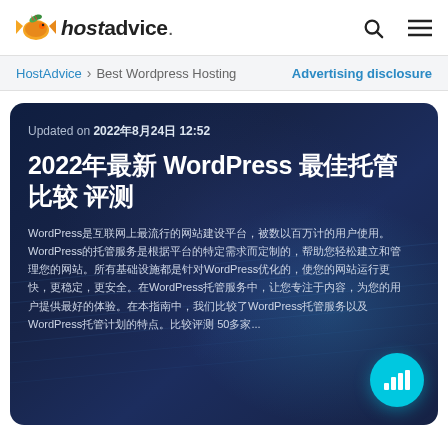hostadvice.
HostAdvice > Best Wordpress Hosting  Advertising disclosure
Updated on 2022年8月24日 12:52
2022年最新 WordPress 最佳托管 比较评测
WordPress是互联网上最流行的网站建设平台，被数以百万计的用户使用。WordPress的托管服务是根据平台的特定需求而定制的，帮助您轻松建立和管理您的网站。在WordPress托管服务中，所有基础设施都是针对WordPress优化的，使您的网站运行更快，更稳定，更安全。WordPress托管让您专注于内容，为您的用户提供最好的体验。在本指南中，我们比较了50多家...